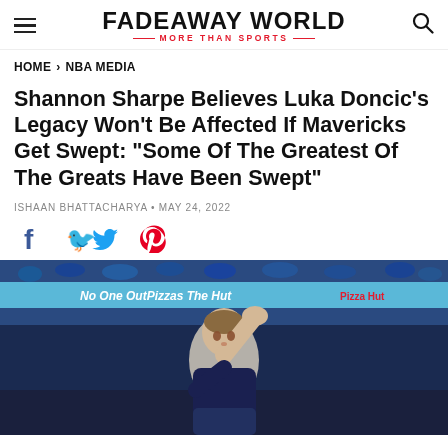FADEAWAY WORLD · MORE THAN SPORTS
HOME > NBA MEDIA
Shannon Sharpe Believes Luka Doncic's Legacy Won't Be Affected If Mavericks Get Swept: "Some Of The Greatest Of The Greats Have Been Swept"
ISHAAN BHATTACHARYA · MAY 24, 2022
[Figure (illustration): Luka Doncic raising his hand/fist in a basketball arena, with a Pizza Hut banner visible in the background and crowd visible.]